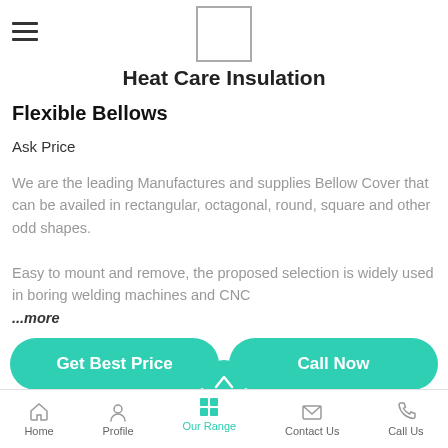Heat Care Insulation
Flexible Bellows
Ask Price
We are the leading Manufactures and supplies Bellow Cover that can be availed in rectangular, octagonal, round, square and other odd shapes.

Easy to mount and remove, the proposed selection is widely used in boring welding machines and CNC ...more
Get Best Price
Call Now
Home | Profile | Our Range | Contact Us | Call Us